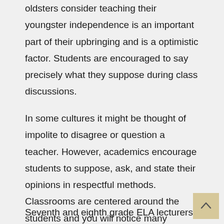oldsters consider teaching their youngster independence is an important part of their upbringing and is a optimistic factor. Students are encouraged to say precisely what they suppose during class discussions.
In some cultures it might be thought of impolite to disagree or question a teacher. However, academics encourage students to suppose, ask, and state their opinions in respectful methods. Classrooms are centered around the students and you will notice many students working collectively in groups.
Seventh and eighth grade ELA lecturers